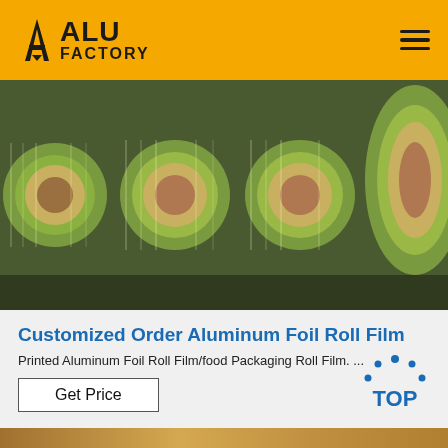ALU FACTORY
[Figure (photo): Large rolls of green/gold aluminum foil film stacked horizontally in a warehouse/factory setting, viewed from the end showing circular cross-sections]
Customized Order Aluminum Foil Roll Film
Printed Aluminum Foil Roll Film/food Packaging Roll Film. ...
Get Price
[Figure (photo): Partial view of a bottom product image strip showing aluminum foil roll in warm/golden tones]